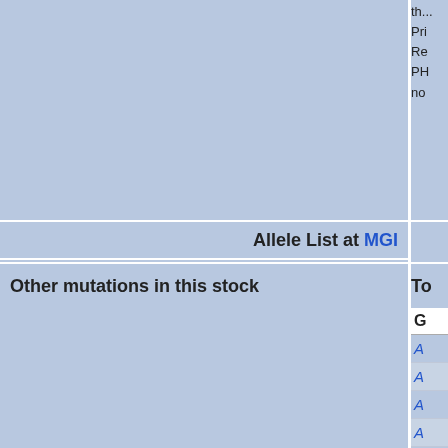| Allele List at MGI | To |
| --- | --- |
| Other mutations in this stock | G |
|  | A |
|  | A |
|  | A |
|  | A |
|  | A |
|  | A |
|  | A |
|  | B |
|  | C |
|  | C |